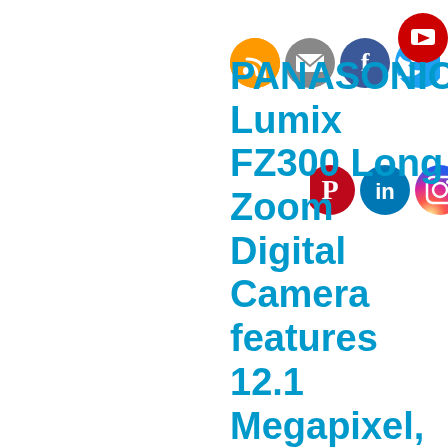[Figure (infographic): Social media icon buttons row: RSS feed (orange), Email/Follow (gray), Facebook (blue), Twitter (blue), YouTube (red). Second row: Pinterest (red), LinkedIn (blue), Instagram (gradient purple/orange).]
PANASONIC Lumix FZ300 Long Zoom Digital Camera features 12.1 Megapixel, 1/2.3-inch